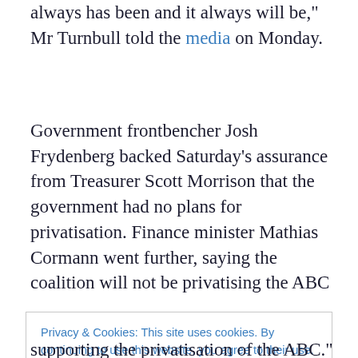always has been and it always will be," Mr Turnbull told the media on Monday.
Government frontbencher Josh Frydenberg backed Saturday's assurance from Treasurer Scott Morrison that the government had no plans for privatisation. Finance minister Mathias Cormann went further, saying the coalition will not be privatising the ABC
Privacy & Cookies: This site uses cookies. By continuing to use this website, you agree to their use.
To find out more, including how to control cookies, see here: Cookie Policy
Close and accept
supporting the privatisation of the ABC." Mr McCormack